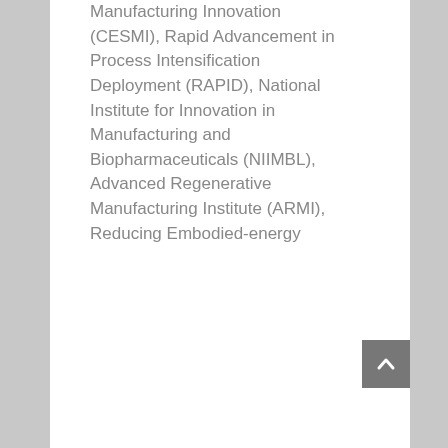Manufacturing Innovation (CESMI), Rapid Advancement in Process Intensification Deployment (RAPID), National Institute for Innovation in Manufacturing and Biopharmaceuticals (NIIMBL), Advanced Regenerative Manufacturing Institute (ARMI), Reducing Embodied-energy